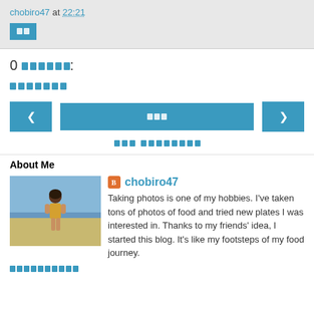chobiro47 at 22:21
[Figure (screenshot): Blue button with Thai text label]
0 [Thai characters]:
[Thai characters - post comment link]
[Figure (screenshot): Navigation buttons: left arrow, center Thai text button, right arrow]
[Thai characters - subscribe link]
About Me
[Figure (photo): Profile photo of person on beach in yellow outfit]
chobiro47
Taking photos is one of my hobbies. I've taken tons of photos of food and tried new plates I was interested in. Thanks to my friends' idea, I started this blog. It's like my footsteps of my food journey.
[Thai characters - view profile link]